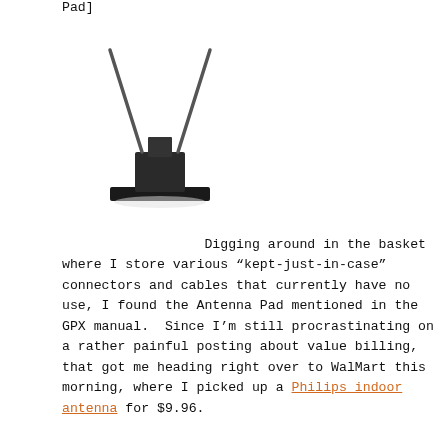Pad]
[Figure (photo): Indoor TV antenna with two thin metal rods extending upward from a black rectangular base with a stand]
Digging around in the basket where I store various “kept-just-in-case” connectors and cables that currently have no use, I found the Antenna Pad mentioned in the GPX manual.  Since I’m still procrastinating on a rather painful posting about value billing, that got me heading right over to WalMart this morning, where I picked up a Philips indoor antenna for $9.96.